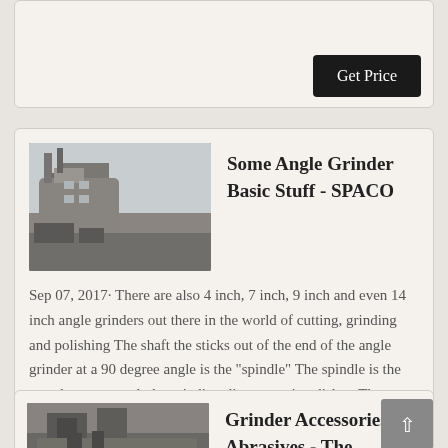[Figure (screenshot): Partial card at top showing a Get Price button]
[Figure (photo): Industrial machinery / dust collector equipment photo thumbnail]
Some Angle Grinder Basic Stuff - SPACO
Sep 07, 2017· There are also 4 inch, 7 inch, 9 inch and even 14 inch angle grinders out there in the world of cutting, grinding and polishing The shaft the sticks out of the end of the angle grinder at a 90 degree angle is the "spindle" The spindle is the part that you attach the grinding disc or cutting disk to The spindle is powered by the unit's drive ,
[Figure (photo): Industrial grinder / machinery photo thumbnail at bottom]
Grinder Accessories - Abrasives - The